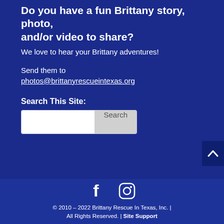Do you have a fun Brittany story, photo, and/or video to share?
We love to hear your Brittany adventures!
Send them to photos@brittanyrescueintexas.org
Search This Site:
[Figure (screenshot): Search input box with Search button]
[Figure (screenshot): Scroll to top button with upward caret icon]
[Figure (infographic): Facebook and Instagram social media icons]
© 2010 – 2022 Brittany Rescue In Texas, Inc. | All Rights Reserved. | Site Support